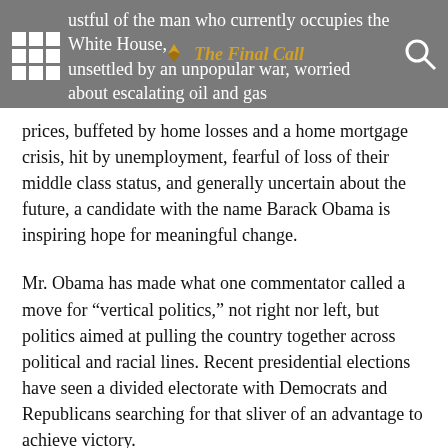The Final Call
ustful of the man who currently occupies the White House, unsettled by an unpopular war, worried about escalating oil and gas prices, buffeted by home losses and a home mortgage crisis, hit by unemployment, fearful of loss of their middle class status, and generally uncertain about the future, a candidate with the name Barack Obama is inspiring hope for meaningful change.
Mr. Obama has made what one commentator called a move for “vertical politics,” not right nor left, but politics aimed at pulling the country together across political and racial lines. Recent presidential elections have seen a divided electorate with Democrats and Republicans searching for that sliver of an advantage to achieve victory.
Instead of trying to slice off a segment of voters for a political win, Mr. Obama has called for expansion of the electorate by urging and inspiring more people, young people in particular, to get involved in the process.